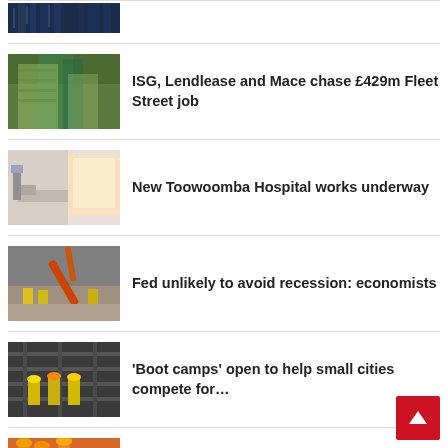[Figure (photo): Partial view of a modern glass building — top strip only visible]
ISG, Lendlease and Mace chase £429m Fleet Street job
[Figure (photo): Aerial view of green high-rise building in urban setting]
New Toowoomba Hospital works underway
[Figure (photo): Interior of hospital room with medical equipment]
Fed unlikely to avoid recession: economists
[Figure (photo): Construction workers with excavator on job site]
'Boot camps' open to help small cities compete for…
[Figure (photo): Construction workers in yellow vests on scaffolding]
Inflation Reduction Act includes $3B to